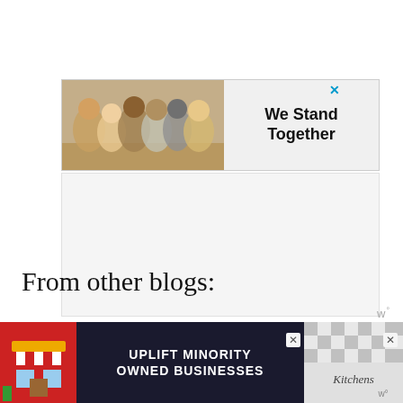[Figure (illustration): Advertisement banner: people standing together with arms around each other, text reads 'We Stand Together'. Close button (×) in top right corner.]
[Figure (illustration): Large gray advertisement placeholder area with 'w°' logo in bottom right corner.]
From other blogs:
Lightening-Fast Cheesy Three-Pepper Ravioli with Italian Sausage (lacto-ovo with
[Figure (illustration): Bottom advertisement banner: 'UPLIFT MINORITY OWNED BUSINESSES' with storefront illustration on left, checkered pattern on right with 'Kitchens' text and 'w°' logo. Two close (×) buttons.]